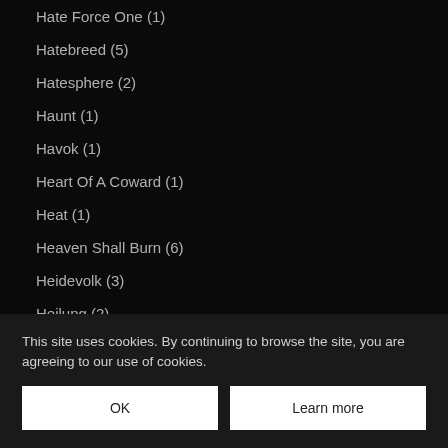Hate Force One (1)
Hatebreed (5)
Hatesphere (2)
Haunt (1)
Havok (1)
Heart Of A Coward (1)
Heat (1)
Heaven Shall Burn (6)
Heidevolk (3)
Heilung (2)
Helevorn (1)
Hell And High Water (1)
Hellhammer By Triumph Of Death (1)
Hellraisers (2)
Hellyeah (4)
Helmet (1)
Herndale (1)
This site uses cookies. By continuing to browse the site, you are agreeing to our use of cookies.